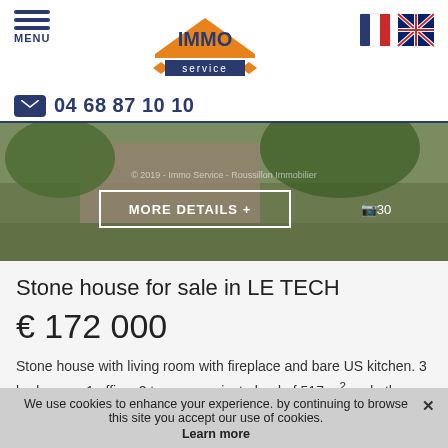[Figure (logo): IMMO service real estate agency logo with orange roof shape and blue text]
MENU
04 68 87 10 10
[Figure (photo): Stone house property exterior photo with garden and trees, showing MORE DETAILS button and photo count 30]
Stone house for sale in LE TECH
€ 172 000
Stone house with living room with fireplace and bare US kitchen. 3 bedrooms, 1 office, 2 terraces, private land of 517 m² and other undivided land around the hamlet. New roof and septic tank. Garage of 100 m².
We use cookies to enhance your experience. by continuing to browse this site you accept our use of cookies. Learn more